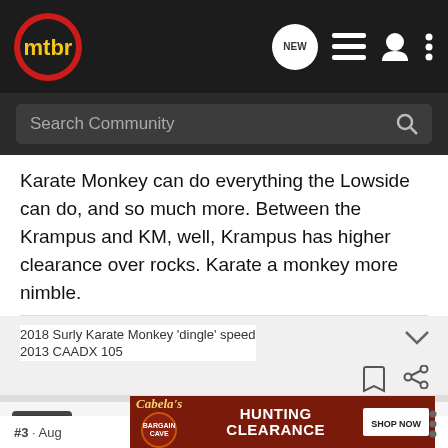mtbr - Search Community
Karate Monkey can do everything the Lowside can do, and so much more. Between the Krampus and KM, well, Krampus has higher clearance over rocks. Karate a monkey more nimble.
2018 Surly Karate Monkey 'dingle' speed
2013 CAADX 105
jcd46 · Bikesexual
Joined Jul 25, 2012 · 7,568 Posts
#3 · Aug
[Figure (screenshot): Cabela's Bargain Cave Hunting Clearance advertisement banner with Shop Now button]